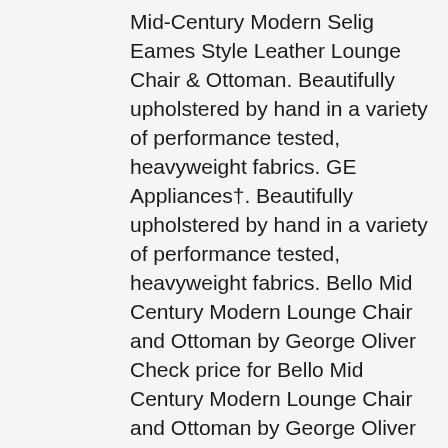Mid-Century Modern Selig Eames Style Leather Lounge Chair & Ottoman. Beautifully upholstered by hand in a variety of performance tested, heavyweight fabrics. GE Appliances†. Beautifully upholstered by hand in a variety of performance tested, heavyweight fabrics. Bello Mid Century Modern Lounge Chair and Ottoman by George Oliver Check price for Bello Mid Century Modern Lounge Chair and Ottoman by George Oliver get it to day. Adrian Pearsall Style Wieland Furniture Company Upholstered and Walnut Lounge Chair and Ottoman - chair is ready for new upholstery.Chair measures: 38 wide x 30 deep x 23 high, with a seat height of 14 … Imported, color may vary. The blends mid-century modern and industrial modern styles with current design trends to create timeless pieces, like this armchair offerings, that seamlessly compliment any decor. It meets fire retardant requirements without the addition of chemicals. It's a winning combination that will work in any room of the house. Crafted atop a solid and engineered wood frame, it features four tapered rubberwood legs for a rustic touch and a clean-